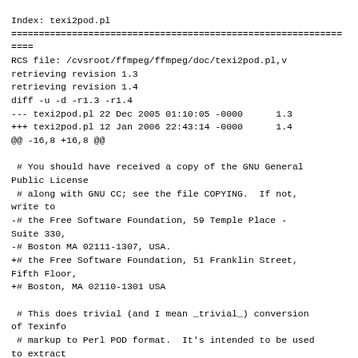Index: texi2pod.pl
================================================================
RCS file: /cvsroot/ffmpeg/ffmpeg/doc/texi2pod.pl,v
retrieving revision 1.3
retrieving revision 1.4
diff -u -d -r1.3 -r1.4
--- texi2pod.pl 22 Dec 2005 01:10:05 -0000      1.3
+++ texi2pod.pl 12 Jan 2006 22:43:14 -0000      1.4
@@ -16,8 +16,8 @@

 # You should have received a copy of the GNU General Public License
 # along with GNU CC; see the file COPYING.  If not, write to
-# the Free Software Foundation, 59 Temple Place - Suite 330,
-# Boston MA 02111-1307, USA.
+# the Free Software Foundation, 51 Franklin Street, Fifth Floor,
+# Boston, MA 02110-1301 USA

 # This does trivial (and I mean _trivial_) conversion of Texinfo
 # markup to Perl POD format.  It's intended to be used to extract